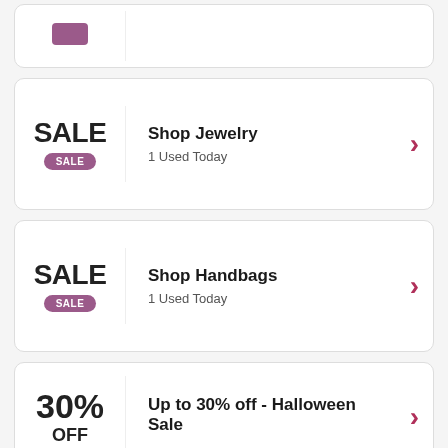[Figure (screenshot): Partial coupon card at top, cut off, showing purple icon/label]
Shop Jewelry — 1 Used Today
Shop Handbags — 1 Used Today
Up to 30% off - Halloween Sale